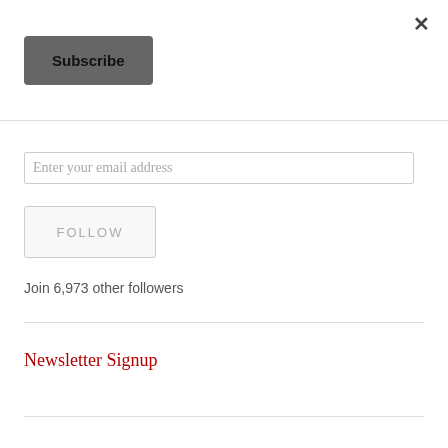×
Subscribe
Enter your email address
FOLLOW
Join 6,973 other followers
Newsletter Signup